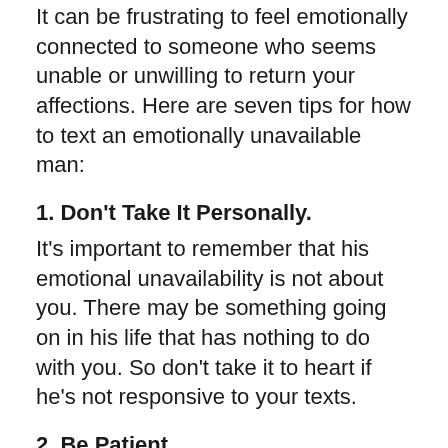It can be frustrating to feel emotionally connected to someone who seems unable or unwilling to return your affections. Here are seven tips for how to text an emotionally unavailable man:
1. Don't Take It Personally.
It's important to remember that his emotional unavailability is not about you. There may be something going on in his life that has nothing to do with you. So don't take it to heart if he's not responsive to your texts.
2. Be Patient.
It may take some time for him to open up, so don't try to force him into a conversation before he's ready. Just be